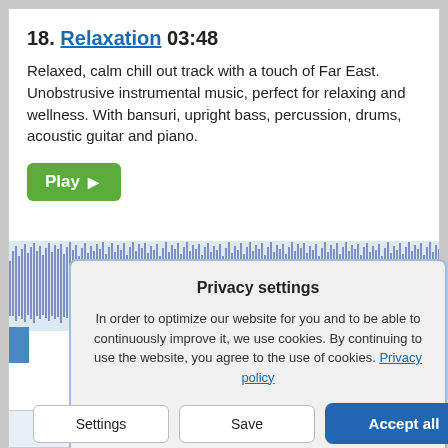18. Relaxation 03:48
Relaxed, calm chill out track with a touch of Far East. Unobstrusive instrumental music, perfect for relaxing and wellness. With bansuri, upright bass, percussion, drums, acoustic guitar and piano.
[Figure (screenshot): Green Play button with triangle arrow icon]
[Figure (continuous-plot): Audio waveform visualization showing sound amplitude over time, blue spiky waveform on light background]
Privacy settings
In order to optimize our website for you and to be able to continuously improve it, we use cookies. By continuing to use the website, you agree to the use of cookies. Privacy policy
Settings  Save  Accept all